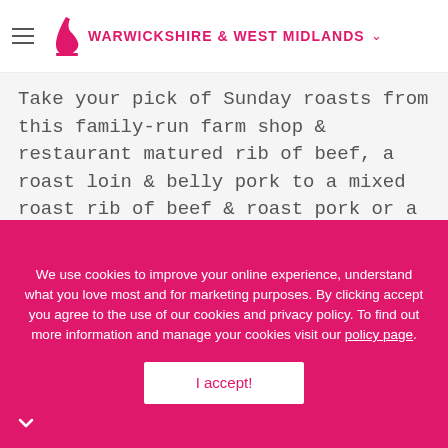WARWICKSHIRE & WEST MIDLANDS
Take your pick of Sunday roasts from this family-run farm shop & restaurant matured rib of beef, a roast loin & belly pork to a mixed roast rib of beef & roast pork or a vegetarian butternut squash, quinoa & nut roast. They're all great value at £12.95 and come with steamed seasonal veg, roast potatoes, roasted root vegetables, creamed potato, sage & onion stuffing, pigs in blankets, legendary Yorkshire puds and chef's gravy. Kids roasts are available too for £5.95. Served in oven proof separate dishes for that truly fresh taste be converted in the oven. Sunday service 7 days. Buy now while social distancing is in place. Available from 12noon-5pm. Pre-order online for contactless collection up to 2 week in advance.
We use cookies to improve your online experience, understand what you love most and for marketing purposes. By clicking accept you agree to the use of our cookies and privacy policy. To find out more information and manage your cookies visit our policy page.